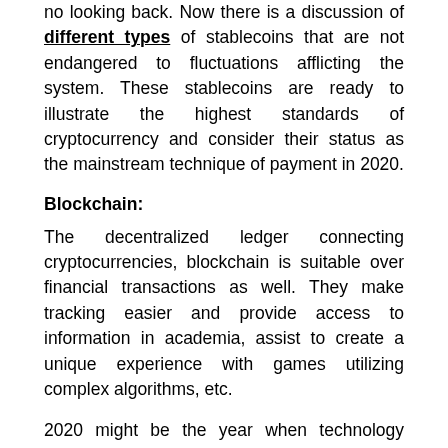no looking back. Now there is a discussion of different types of stablecoins that are not endangered to fluctuations afflicting the system. These stablecoins are ready to illustrate the highest standards of cryptocurrency and consider their status as the mainstream technique of payment in 2020.
Blockchain:
The decentralized ledger connecting cryptocurrencies, blockchain is suitable over financial transactions as well. They make tracking easier and provide access to information in academia, assist to create a unique experience with games utilizing complex algorithms, etc.
2020 might be the year when technology starts transforming lives. With so many interesting things waiting to happen and some of them already are on way, one simply can't control his excitement but look